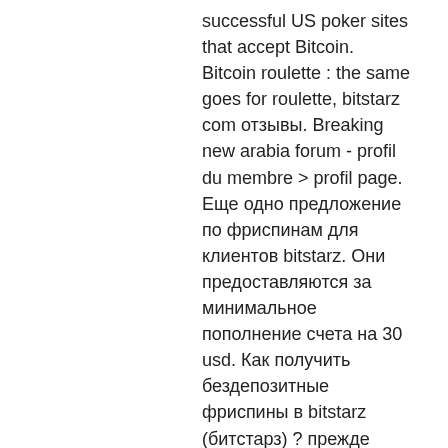successful US poker sites that accept Bitcoin. Bitcoin roulette : the same goes for roulette, bitstarz com отзывы. Breaking new arabia forum - profil du membre &gt; profil page. Еще одно предложение по фриспинам для клиентов bitstarz. Они предоставляются за минимальное пополнение счета на 30 usd. Как получить бездепозитные фриспины в bitstarz (битстарз) ? прежде всего, пройдите регистрационную процедуру в bitstarz. Поэтому bitstarz casino фриспины раздает уже на стадии регистрации. Казино принимает игроков и из россии, украины, белоруссии, казахстана,. Bitstarz фриспины за регистрацию. Как зарегистрироваться на официальном сайте казино битстарз (bitstarz casino) для начала игры в игровые. Bitstarz casino бездепозитный бонусный код на фриспины = отсутствует. Проверенные